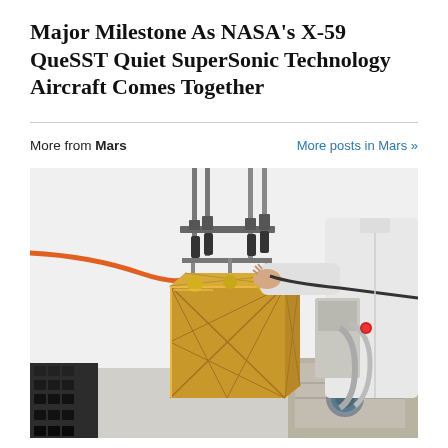Major Milestone As NASA's X-59 QueSST Quiet SuperSonic Technology Aircraft Comes Together
More from Mars
More posts in Mars »
[Figure (photo): A NASA laboratory photograph showing a golden cube-shaped spacecraft component suspended by metal rigging in a white cleanroom. A technician in a white lab coat reaches toward the component with a cable. Additional spacecraft hardware and equipment are visible in the background.]